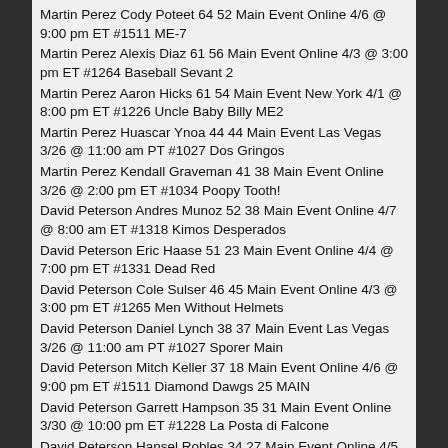Martin Perez Cody Poteet 64 52 Main Event Online 4/6 @ 9:00 pm ET #1511 ME-7
Martin Perez Alexis Diaz 61 56 Main Event Online 4/3 @ 3:00 pm ET #1264 Baseball Sevant 2
Martin Perez Aaron Hicks 61 54 Main Event New York 4/1 @ 8:00 pm ET #1226 Uncle Baby Billy ME2
Martin Perez Huascar Ynoa 44 44 Main Event Las Vegas 3/26 @ 11:00 am PT #1027 Dos Gringos
Martin Perez Kendall Graveman 41 38 Main Event Online 3/26 @ 2:00 pm ET #1034 Poopy Tooth!
David Peterson Andres Munoz 52 38 Main Event Online 4/7 @ 8:00 am ET #1318 Kimos Desperados
David Peterson Eric Haase 51 23 Main Event Online 4/4 @ 7:00 pm ET #1331 Dead Red
David Peterson Cole Sulser 46 45 Main Event Online 4/3 @ 3:00 pm ET #1265 Men Without Helmets
David Peterson Daniel Lynch 38 37 Main Event Las Vegas 3/26 @ 11:00 am PT #1027 Sporer Main
David Peterson Mitch Keller 37 18 Main Event Online 4/6 @ 9:00 pm ET #1511 Diamond Dawgs 25 MAIN
David Peterson Garrett Hampson 35 31 Main Event Online 3/30 @ 10:00 pm ET #1228 La Posta di Falcone
David Peterson Hansel Robles 34 27 Main Event Online 4/5 @ 8:00 pm ET #1408 Ryan is burning red
David Peterson Chris Flexen 33 28 Main Event Online 4/2 @